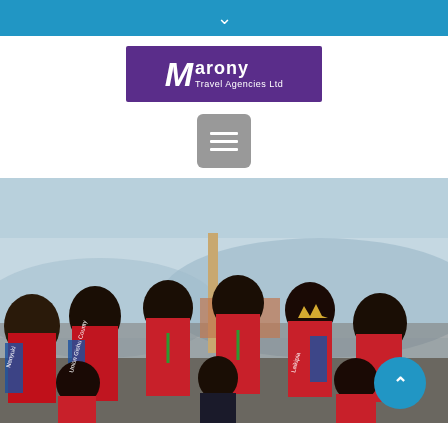chevron down indicator
[Figure (logo): Marony Travel Agencies Ltd logo — purple background with stylized M and company name]
[Figure (photo): Group photo of women wearing red tops and blue pageant sashes (Nanyuki, Laikipia, etc.) with crowns and green lanyards, standing outdoors with hills in background. A man in a suit is seated in the front center. A blue scroll-to-top button is overlaid in the bottom right.]